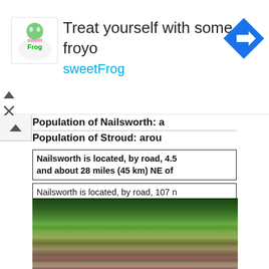[Figure (infographic): SweetFrog advertisement banner with logo, text 'Treat yourself with some froyo', brand name 'sweetFrog', and navigation arrow icon]
Population of Nailsworth: a
Population of Stroud: arou
Nailsworth is located, by road, 4.5 and about 28 miles (45 km) NE of
Nailsworth is located, by road, 107 n
[Figure (photo): Aerial/elevated view of Nailsworth town surrounded by trees and hills]
october 2013
september 2013
august 2013
july 2013
june 2013
may 2013
april 2013
march 2013
february 2013
january 2013
december 2012
november 2012
october 2012
september 2012
august 2012
july 2012
june 2012
may 2012
april 2012
march 2012
february 2012
january 2012
december 2011
november 2011
october 2011
september 2011